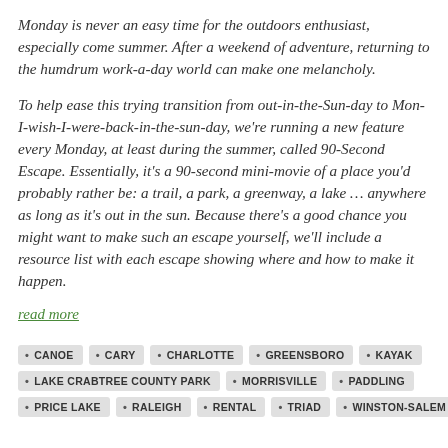Monday is never an easy time for the outdoors enthusiast, especially come summer. After a weekend of adventure, returning to the humdrum work-a-day world can make one melancholy.
To help ease this trying transition from out-in-the-Sun-day to Mon-I-wish-I-were-back-in-the-sun-day, we're running a new feature every Monday, at least during the summer, called 90-Second Escape. Essentially, it's a 90-second mini-movie of a place you'd probably rather be: a trail, a park, a greenway, a lake … anywhere as long as it's out in the sun. Because there's a good chance you might want to make such an escape yourself, we'll include a resource list with each escape showing where and how to make it happen.
read more
CANOE
CARY
CHARLOTTE
GREENSBORO
KAYAK
LAKE CRABTREE COUNTY PARK
MORRISVILLE
PADDLING
PRICE LAKE
RALEIGH
RENTAL
TRIAD
WINSTON-SALEM